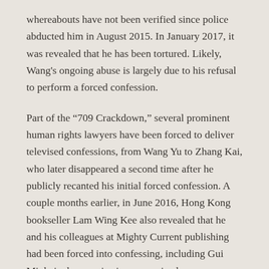whereabouts have not been verified since police abducted him in August 2015. In January 2017, it was revealed that he has been tortured. Likely, Wang's ongoing abuse is largely due to his refusal to perform a forced confession.
Part of the “709 Crackdown,” several prominent human rights lawyers have been forced to deliver televised confessions, from Wang Yu to Zhang Kai, who later disappeared a second time after he publicly recanted his initial forced confession. A couple months earlier, in June 2016, Hong Kong bookseller Lam Wing Kee also revealed that he and his colleagues at Mighty Current publishing had been forced into confessing, including Gui Minhai who remains incommunicado.
In his televised “confession,” Gui, a Swedish citizen, asked